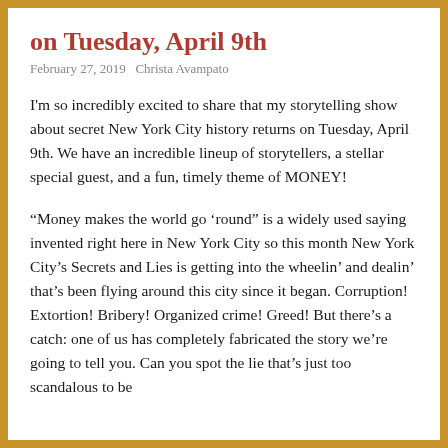on Tuesday, April 9th
February 27, 2019   Christa Avampato
I'm so incredibly excited to share that my storytelling show about secret New York City history returns on Tuesday, April 9th. We have an incredible lineup of storytellers, a stellar special guest, and a fun, timely theme of MONEY!
“Money makes the world go ‘round” is a widely used saying invented right here in New York City so this month New York City’s Secrets and Lies is getting into the wheelin’ and dealin’ that’s been flying around this city since it began. Corruption! Extortion! Bribery! Organized crime! Greed! But there’s a catch: one of us has completely fabricated the story we’re going to tell you. Can you spot the lie that’s just too scandalous to be